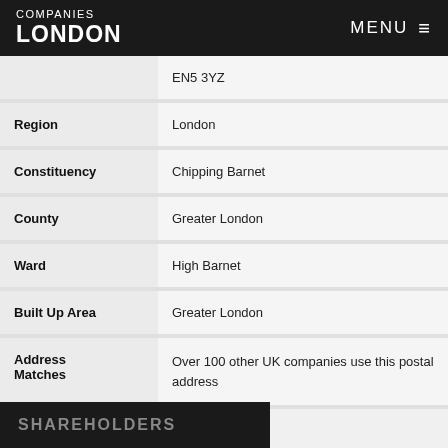COMPANIES LONDON | MENU
| Field | Value |
| --- | --- |
|  | EN5 3YZ |
| Region | London |
| Constituency | Chipping Barnet |
| County | Greater London |
| Ward | High Barnet |
| Built Up Area | Greater London |
| Address Matches | Over 100 other UK companies use this postal address |
SHAREHOLDERS